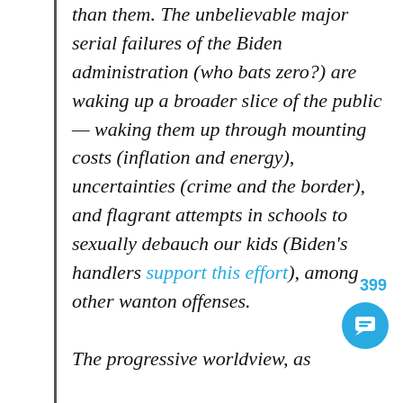than them. The unbelievable major serial failures of the Biden administration (who bats zero?) are waking up a broader slice of the public — waking them up through mounting costs (inflation and energy), uncertainties (crime and the border), and flagrant attempts in schools to sexually debauch our kids (Biden's handlers support this effort), among other wanton offenses.

The progressive worldview, as